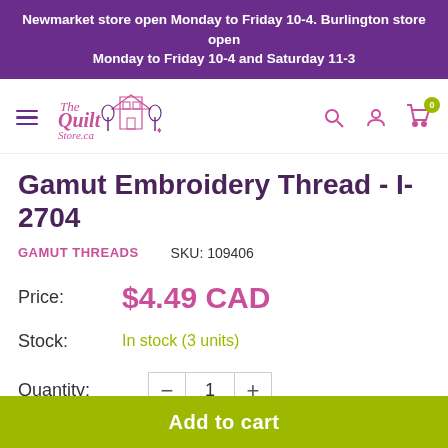Newmarket store open Monday to Friday 10-4. Burlington store open Monday to Friday 10-4 and Saturday 11-3
[Figure (logo): The Quilt Store logo with hamburger menu, search, account, and cart icons]
Gamut Embroidery Thread - I-2704
GAMUT THREADS   SKU: 109406
Price:   $4.49 CAD
Stock:   In stock (3 units)
Quantity:   − 1 +
Add to cart